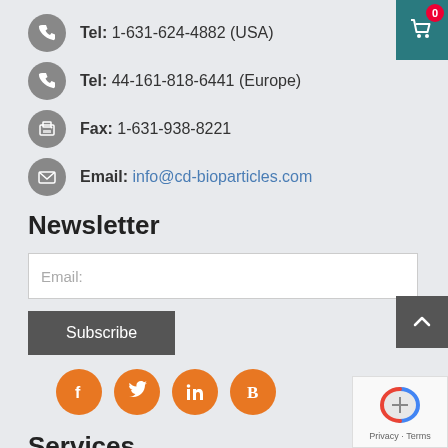Tel: 1-631-624-4882 (USA)
Tel: 44-161-818-6441 (Europe)
Fax: 1-631-938-8221
Email: info@cd-bioparticles.com
Newsletter
Email: (input field)
Subscribe
[Figure (infographic): Social media icons: Facebook, Twitter, LinkedIn, B (Blogger/other), all in orange circles]
Services
[Figure (other): Shopping cart widget top-right, back-to-top arrow button, reCAPTCHA widget bottom-right]